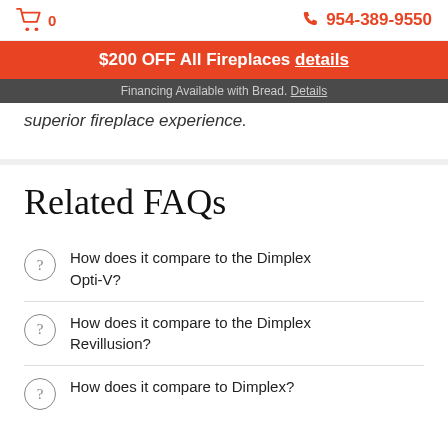🛒 0   📞 954-389-9550
$200 OFF All Fireplaces details
Financing Available with Bread. Details
superior fireplace experience.
Related FAQs
How does it compare to the Dimplex Opti-V?
How does it compare to the Dimplex Revillusion?
How does it compare to Dimplex?